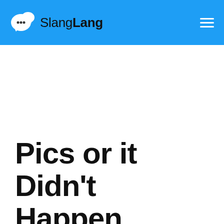SlangLang
Pics or it Didn't Happen